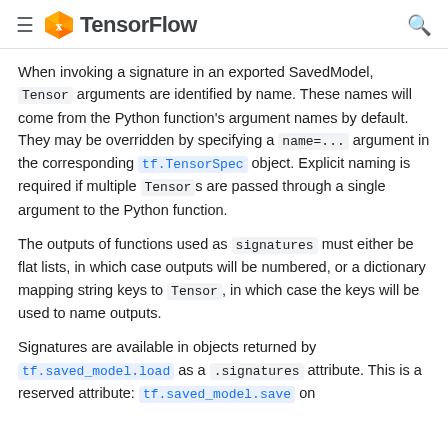TensorFlow
When invoking a signature in an exported SavedModel, Tensor arguments are identified by name. These names will come from the Python function's argument names by default. They may be overridden by specifying a name=... argument in the corresponding tf.TensorSpec object. Explicit naming is required if multiple Tensors are passed through a single argument to the Python function.
The outputs of functions used as signatures must either be flat lists, in which case outputs will be numbered, or a dictionary mapping string keys to Tensor, in which case the keys will be used to name outputs.
Signatures are available in objects returned by tf.saved_model.load as a .signatures attribute. This is a reserved attribute: tf.saved_model.save on